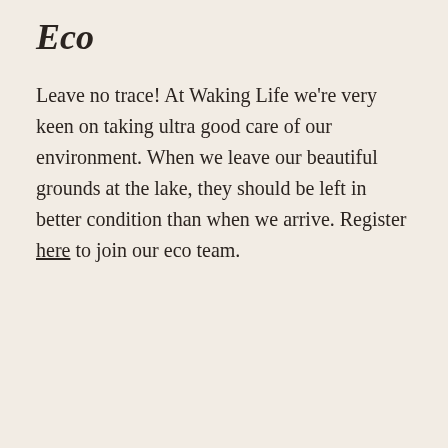Eco
Leave no trace! At Waking Life we're very keen on taking ultra good care of our environment. When we leave our beautiful grounds at the lake, they should be left in better condition than when we arrive. Register here to join our eco team.